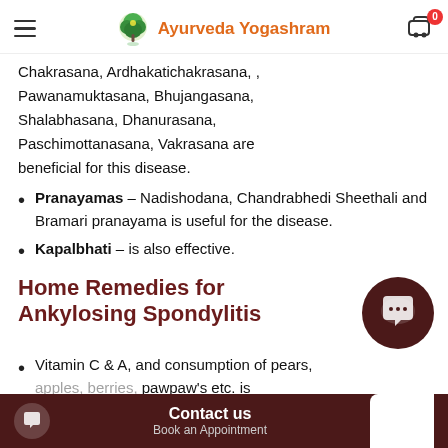Ayurveda Yogashram
Chakrasana, Ardhakatichakrasana, , Pawanamuktasana, Bhujangasana, Shalabhasana, Dhanurasana, Paschimottanasana, Vakrasana are beneficial for this disease.
Pranayamas – Nadishodana, Chandrabhedi Sheethali and Bramari pranayama is useful for the disease.
Kapalbhati – is also effective.
Home Remedies for Ankylosing Spondylitis
Vitamin C & A, and consumption of pears, apples, berries, pawpaw's etc. is recommended. These bolster the immune